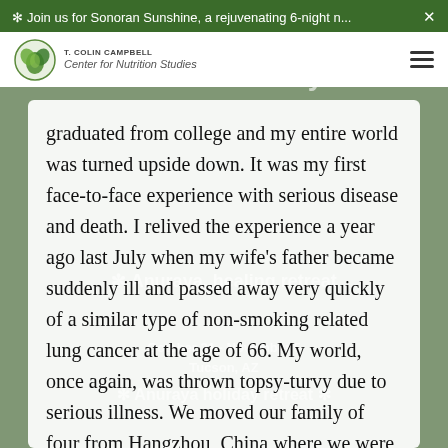✻ Join us for Sonoran Sunshine, a rejuvenating 6-night n... ✕
[Figure (logo): T. Colin Campbell Center for Nutrition Studies logo — circular green leaf icon with text]
balanced lifestyle
graduated from college and my entire world was turned upside down. It was my first face-to-face experience with serious disease and death. I relived the experience a year ago last July when my wife's father became suddenly ill and passed away very quickly of a similar type of non-smoking related lung cancer at the age of 66. My world, once again, was thrown topsy-turvy due to serious illness. We moved our family of four from Hangzhou, China where we were teaching, into my in-laws home in Iowa to become full time caretakers for her mother who is suffering from Alzheimer's disease. My own mother